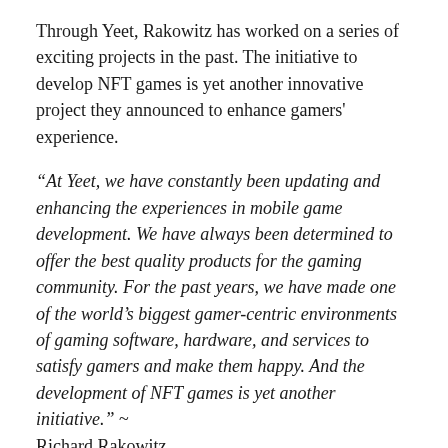Through Yeet, Rakowitz has worked on a series of exciting projects in the past. The initiative to develop NFT games is yet another innovative project they announced to enhance gamers' experience.
“At Yeet, we have constantly been updating and enhancing the experiences in mobile game development. We have always been determined to offer the best quality products for the gaming community. For the past years, we have made one of the world’s biggest gamer-centric environments of gaming software, hardware, and services to satisfy gamers and make them happy. And the development of NFT games is yet another initiative.” ~ Richard Rakowitz
NFT game development will help Yeet cater to a diverse clientele across the globe, exceeding their expectations. Having decades of experience in the field of gaming, Yeet has an excellent in-house team of